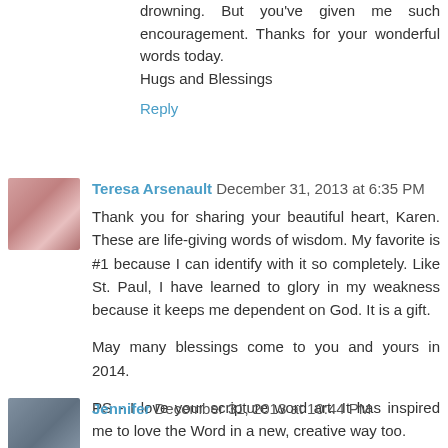drowning. But you've given me such encouragement. Thanks for your wonderful words today.
Hugs and Blessings
Reply
Teresa Arsenault  December 31, 2013 at 6:35 PM
Thank you for sharing your beautiful heart, Karen. These are life-giving words of wisdom. My favorite is #1 because I can identify with it so completely. Like St. Paul, I have learned to glory in my weakness because it keeps me dependent on God. It is a gift.

May many blessings come to you and yours in 2014.

PS - I love your scripture word art. It has inspired me to love the Word in a new, creative way too.
Reply
Jennifer  December 31, 2013 at 10:44 PM